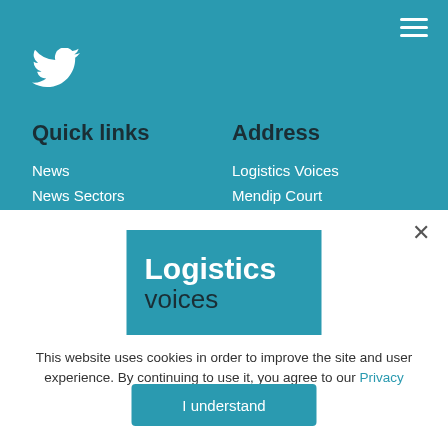[Figure (logo): Twitter bird icon in white on teal background]
Quick links
Address
News
News Sectors
Logistics Voices
Mendip Court
[Figure (logo): Logistics Voices logo: white bold 'Logistics' and dark 'voices' text on teal background]
This website uses cookies in order to improve the site and user experience. By continuing to use it, you agree to our Privacy Policy.
I understand